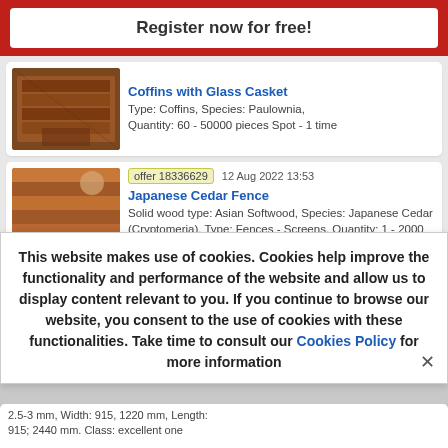Register now for free!
Coffins with Glass Casket
Type: Coffins, Species: Paulownia, Quantity: 60 - 50000 pieces Spot - 1 time
offer 18336629   12 Aug 2022 13:53
Japanese Cedar Fence
Solid wood type: Asian Softwood, Species: Japanese Cedar (Cryptomeria), Type: Fences - Screens, Quantity: 1 - 2000 40'container Spot - 1 time
This website makes use of cookies. Cookies help improve the functionality and performance of the website and allow us to display content relevant to you. If you continue to browse our website, you consent to the use of cookies with these functionalities. Take time to consult our Cookies Policy for more information
2.5-3 mm, Width: 915, 1220 mm, Length: 915; 2440 mm. Class: excellent one